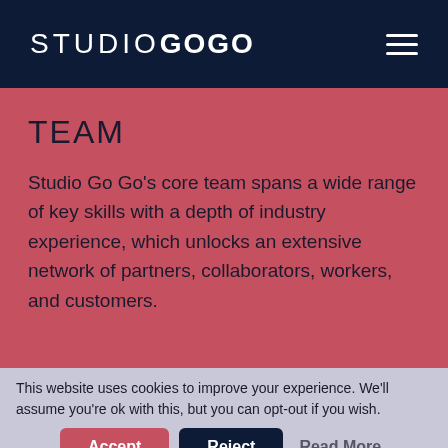STUDIOGOGO
TEAM
Studio Go Go's core team spans a wide range of key skills with a depth of industry experience, which unlocks an extensive network of partners, collaborators, workers, and customers.
This website uses cookies to improve your experience. We'll assume you're ok with this, but you can opt-out if you wish.